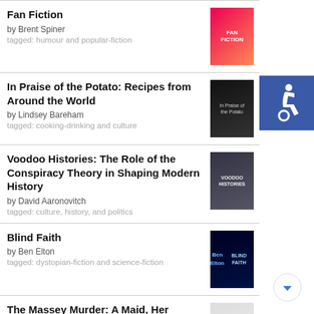Fan Fiction by Brent Spiner tagged: humour and popular-fiction
In Praise of the Potato: Recipes from Around the World by Lindsey Bareham tagged: cooking-drinking and culture
Voodoo Histories: The Role of the Conspiracy Theory in Shaping Modern History by David Aaronovitch tagged: culture, history, and politics
Blind Faith by Ben Elton tagged: dystopian-fiction and science-fiction
The Massey Murder: A Maid, Her Master and the Trial that Shocked a Nation by Charlotte Gray tagged: biography, history, and politics